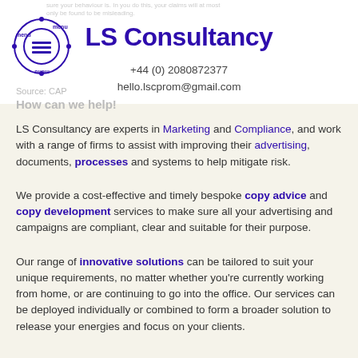LS Consultancy
+44 (0) 2080872377
hello.lscprom@gmail.com
Source: CAP
How can we help!
LS Consultancy are experts in Marketing and Compliance, and work with a range of firms to assist with improving their advertising, documents, processes and systems to help mitigate risk.
We provide a cost-effective and timely bespoke copy advice and copy development services to make sure all your advertising and campaigns are compliant, clear and suitable for their purpose.
Our range of innovative solutions can be tailored to suit your unique requirements, no matter whether you're currently working from home, or are continuing to go into the office. Our services can be deployed individually or combined to form a broader solution to release your energies and focus on your clients.